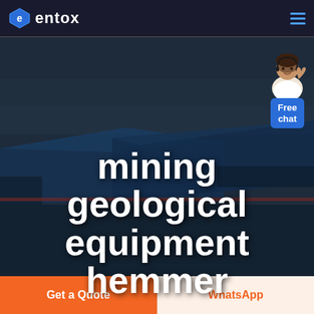entox (logo with hamburger menu)
[Figure (photo): Aerial view of a large industrial/manufacturing facility with blue-roofed warehouse buildings seen at dusk or twilight, with roads and open land surrounding the complex. The image is darkened/overlaid to serve as a hero background.]
mining geological equipment hemmer
[Figure (illustration): Customer service representative avatar (person in white top gesturing with hand raised) above a blue 'Free chat' button widget in the top-right corner.]
Get a Quote
WhatsApp